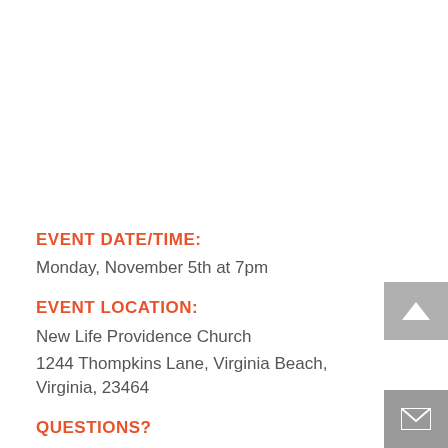EVENT DATE/TIME:
Monday, November 5th at 7pm
EVENT LOCATION:
New Life Providence Church
1244 Thompkins Lane, Virginia Beach, Virginia, 23464
QUESTIONS?
Call The Radiance Foundation at 1-877-517-4463 or contact us online or email us at